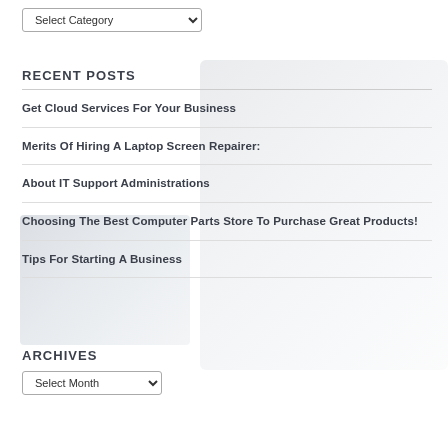Select Category
RECENT POSTS
Get Cloud Services For Your Business
Merits Of Hiring A Laptop Screen Repairer:
About IT Support Administrations
Choosing The Best Computer Parts Store To Purchase Great Products!
Tips For Starting A Business
ARCHIVES
Select Month